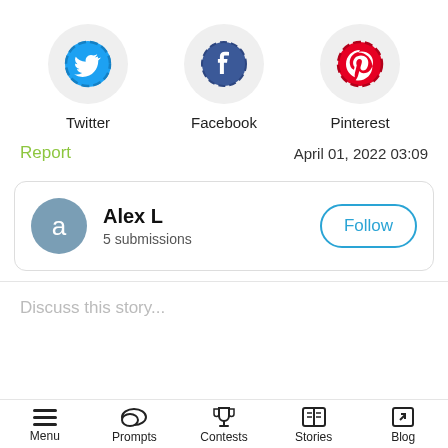[Figure (infographic): Three social media icons in circles: Twitter (blue bird), Facebook (dark blue f), Pinterest (red P)]
Twitter
Facebook
Pinterest
Report
April 01, 2022 03:09
Alex L
5 submissions
Follow
Discuss this story...
Menu  Prompts  Contests  Stories  Blog